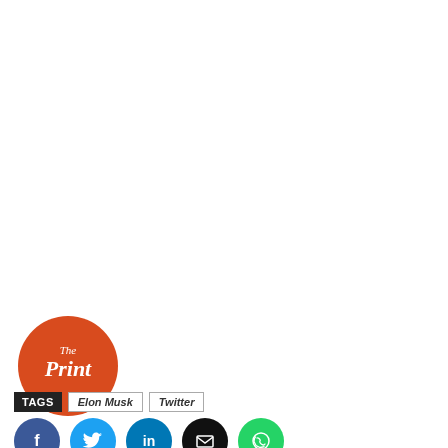[Figure (logo): The Print logo - orange speech bubble with 'The Print' text in white]
TAGS  Elon Musk  Twitter
[Figure (infographic): Social share buttons: Facebook (blue), Twitter (light blue), LinkedIn (dark blue), Email (black), WhatsApp (green)]